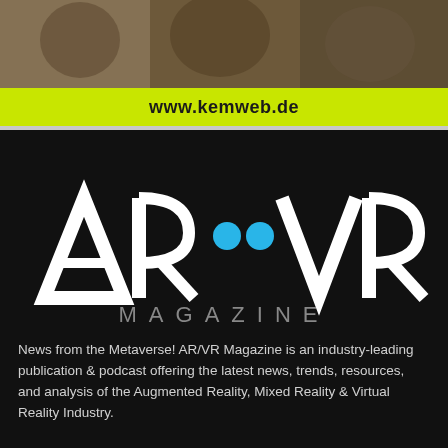[Figure (photo): Top banner photo showing people, partially visible]
www.kemweb.de
[Figure (logo): AR/VR Magazine logo — large white AR and VR letters with two cyan dots in between, and MAGAZINE in grey below]
News from the Metaverse! AR/VR Magazine is an industry-leading publication & podcast offering the latest news, trends, resources, and analysis of the Augmented Reality, Mixed Reality & Virtual Reality Industry.